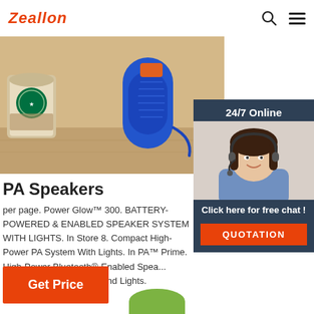Zeallon
[Figure (photo): Blue portable Bluetooth speaker next to a Starbucks cup on a wooden surface]
[Figure (photo): 24/7 Online chat widget with a smiling woman wearing a headset, and a QUOTATION button]
PA Speakers
per page. Power Glow™ 300. BATTERY-POWERED ENABLED SPEAKER SYSTEM WITH LIGHTS. In Store 8. Compact High-Power PA System With Lights. In PA™ Prime. High-Power Bluetooth®-Enabled Speaker with Acoustic Optimization™ and Lights.
[Figure (other): Get Price orange button]
[Figure (other): Green circular shape visible at bottom of page]